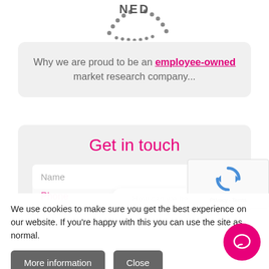[Figure (logo): Partial dotted circular logo with text 'NED' visible at top of page]
Why we are proud to be an employee-owned market research company...
Get in touch
Name
Company
[Figure (other): reCAPTCHA widget showing spinning arrows icon with Privacy and Terms links]
How can we help you today?
We use cookies to make sure you get the best experience on our website. If you're happy with this you can use the site as normal.
Phone
More information
Close